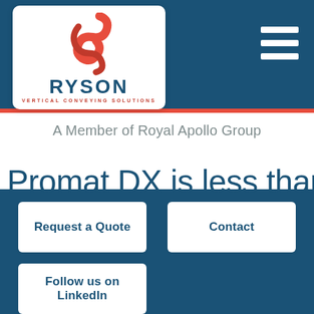[Figure (logo): Ryson Vertical Conveying Solutions logo with red ribbon/spiral graphic, company name RYSON in dark teal, tagline VERTICAL CONVEYING SOLUTIONS in red]
A Member of Royal Apollo Group
Promat DX is less than
Request a Quote
Contact
Follow us on LinkedIn